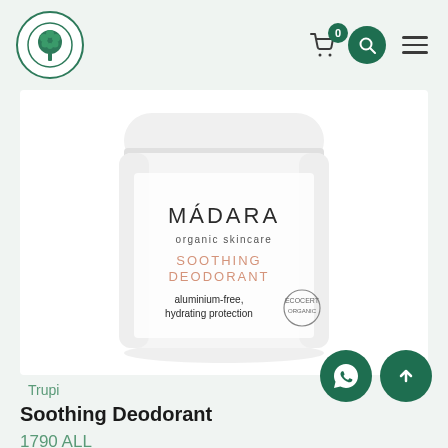[Figure (logo): MADARA organic skincare circular tree logo in dark teal/green on white background]
[Figure (photo): MADARA organic skincare Soothing Deodorant product jar - white cylindrical jar with 'MADARA organic skincare SOOTHING DEODORANT aluminium-free, hydrating protection' text on label with an eco certification badge]
Trupi
Soothing Deodorant
1790 ALL